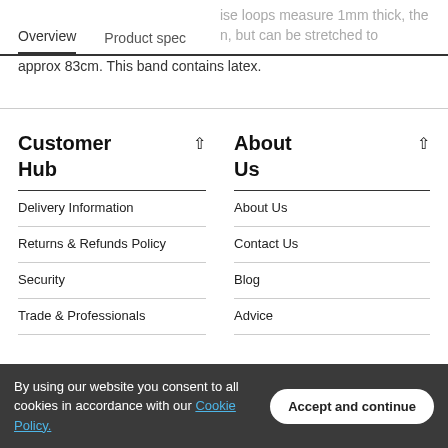Overview    Product spec
ise loops measure 1mm thick, the n, but can be stretched to approx 83cm. This band contains latex.
Customer Hub
Delivery Information
Returns & Refunds Policy
Security
Trade & Professionals
About Us
About Us
Contact Us
Blog
Advice
Connect with us
By using our website you consent to all cookies in accordance with our Cookie Policy.
Accept and continue